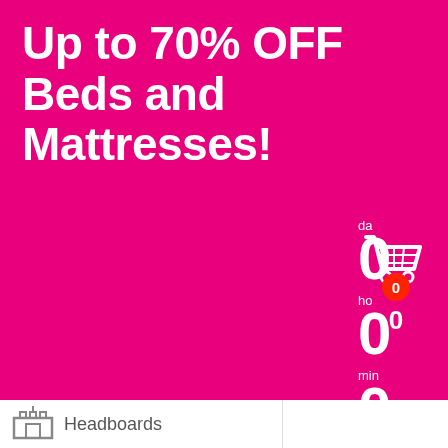Up to 70% OFF Beds and Mattresses!
days
0
hours
0
min
0
seconds
0
[Figure (illustration): Shopping cart icon with a red badge showing 0, and a count of 0 below]
Headboards